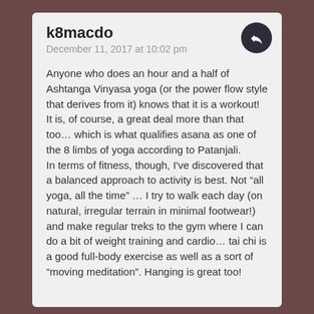k8macdo
December 11, 2017 at 10:02 pm
Anyone who does an hour and a half of Ashtanga Vinyasa yoga (or the power flow style that derives from it) knows that it is a workout! It is, of course, a great deal more than that too… which is what qualifies asana as one of the 8 limbs of yoga according to Patanjali. In terms of fitness, though, I've discovered that a balanced approach to activity is best. Not “all yoga, all the time” … I try to walk each day (on natural, irregular terrain in minimal footwear!) and make regular treks to the gym where I can do a bit of weight training and cardio… tai chi is a good full-body exercise as well as a sort of “moving meditation”. Hanging is great too!